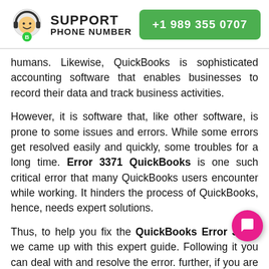[Figure (logo): Support Phone Number logo with headset icon and green phone button showing +1 989 355 0707]
humans. Likewise, QuickBooks is sophisticated accounting software that enables businesses to record their data and track business activities.
However, it is software that, like other software, is prone to some issues and errors. While some errors get resolved easily and quickly, some troubles for a long time. Error 3371 QuickBooks is one such critical error that many QuickBooks users encounter while working. It hinders the process of QuickBooks, hence, needs expert solutions.
Thus, to help you fix the QuickBooks Error 3371, we came up with this expert guide. Following it you can deal with and resolve the error. further, if you are looking quick fixes, you can get the necessary information from the